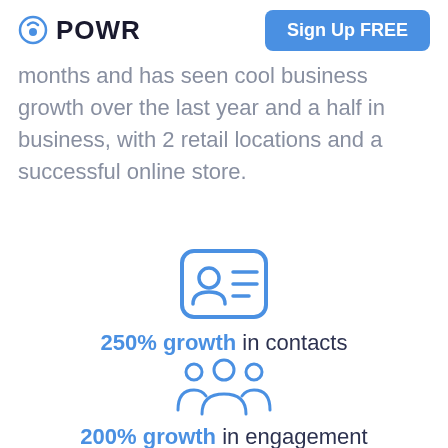POWR  Sign Up FREE
months and has seen cool business growth over the last year and a half in business, with 2 retail locations and a successful online store.
[Figure (illustration): Blue contact card icon with a person silhouette and horizontal lines]
250% growth in contacts
[Figure (illustration): Blue group of people / contacts icon]
200% growth in engagement